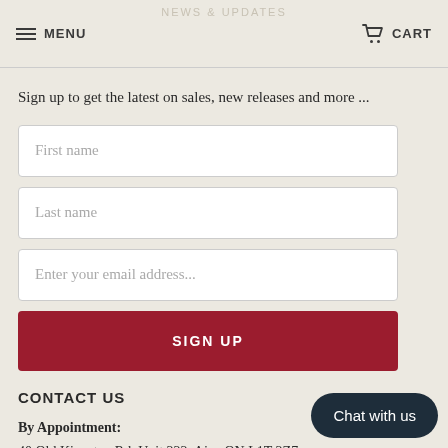NEWS & UPDATES | MENU | CART
Sign up to get the latest on sales, new releases and more ...
[Figure (screenshot): First name input field]
[Figure (screenshot): Last name input field]
[Figure (screenshot): Enter your email address input field]
[Figure (screenshot): SIGN UP button]
CONTACT US
By Appointment:
40 Old Kingston Rd, Unit 222, Ajax ON L1T 2Z7